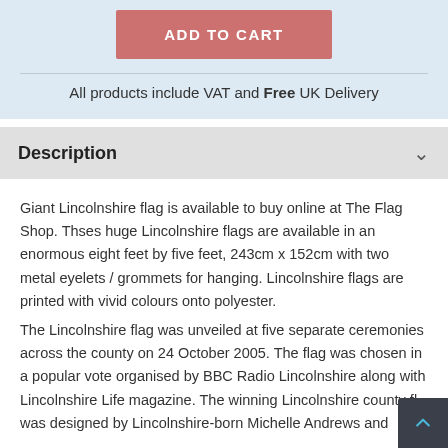[Figure (other): Add to Cart button (salmon/red-pink color) centered in light blue section]
All products include VAT and Free UK Delivery
Description
Giant Lincolnshire flag is available to buy online at The Flag Shop. Thses huge Lincolnshire flags are available in an enormous eight feet by five feet, 243cm x 152cm with two metal eyelets / grommets for hanging. Lincolnshire flags are printed with vivid colours onto polyester.
The Lincolnshire flag was unveiled at five separate ceremonies across the county on 24 October 2005. The flag was chosen in a popular vote organised by BBC Radio Lincolnshire along with Lincolnshire Life magazine. The winning Lincolnshire county fl was designed by Lincolnshire-born Michelle Andrews and